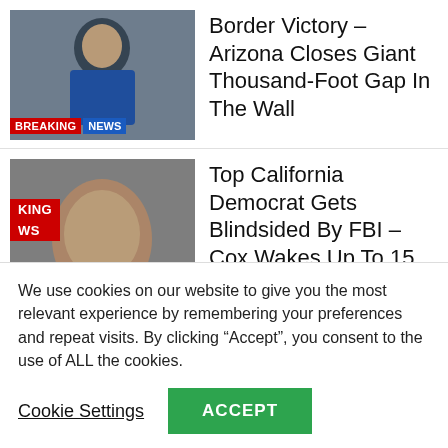[Figure (photo): Breaking News thumbnail with person in blue jacket]
Border Victory – Arizona Closes Giant Thousand-Foot Gap In The Wall
[Figure (photo): Breaking News thumbnail with man in suit looking up]
Top California Democrat Gets Blindsided By FBI – Cox Wakes Up To 15 Counts Of Wire Fraud And 11 Counts Of Money Laundering
[Figure (photo): Thumbnail with man shouting, AL badge visible]
After Biden “Gives” Americans $7,500 To Buy Electric Vehicle – Ford And GM Quickly Raise Their Cost To Equal It
We use cookies on our website to give you the most relevant experience by remembering your preferences and repeat visits. By clicking “Accept”, you consent to the use of ALL the cookies.
Cookie Settings
ACCEPT